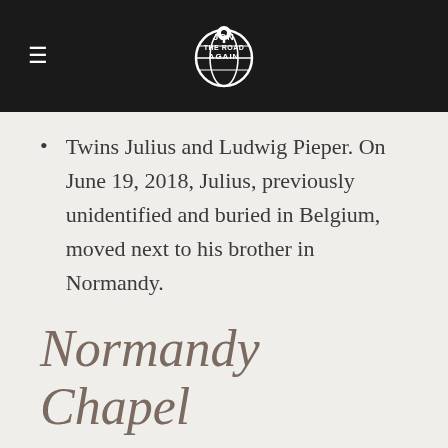Jon the Road Again
Twins Julius and Ludwig Pieper. On June 19, 2018, Julius, previously unidentified and buried in Belgium, moved next to his brother in Normandy.
Normandy Chapel
The circular cemetery chapel is limestone and granite. A black marble altar sits on a two-tiered limestone